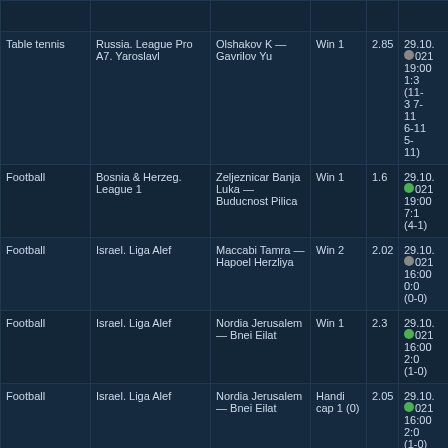| Sport | League | Match | Bet | Odds | Date/Time/Result |
| --- | --- | --- | --- | --- | --- |
| Table tennis | Russia. League Pro A7. Yaroslavl | Olshakov K — Gavrilov Yu | Win 1 | 2.85 | 29.10.2021 19:00 1:3 (11-3 7-11 6-11 5-11) |
| Football | Bosnia & Herzeg. League 1 | Zeljeznicar Banja Luka — Buducnost Pilica | Win 1 | 1.6 | 29.10.2021 19:00 7:1 (4-1) |
| Football | Israel. Liga Alef | Maccabi Tamra — Hapoel Herzliya | Win 2 | 2.02 | 29.10.2021 16:00 0:0 (0-0) |
| Football | Israel. Liga Alef | Nordia Jerusalem — Bnei Eilat | Win 1 | 2.3 | 29.10.2021 16:00 2:0 (1-0) |
| Football | Israel. Liga Alef | Nordia Jerusalem — Bnei Eilat | Handicap 1 (0) | 2.05 | 29.10.2021 16:00 2:0 (1-0) |